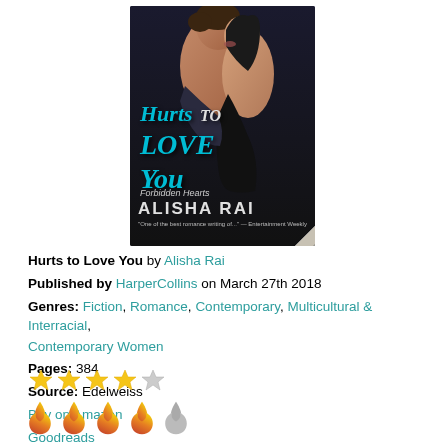[Figure (illustration): Book cover for 'Hurts to Love You' by Alisha Rai. Features a shirtless man and a woman in a black dress in an intimate pose. Title in teal italic script, author name in white uppercase letters. Part of the Forbidden Hearts series. Published by Avon Books (HarperCollins).]
Hurts to Love You by Alisha Rai
Published by HarperCollins on March 27th 2018
Genres: Fiction, Romance, Contemporary, Multicultural & Interracial, Contemporary Women
Pages: 384
Source: Edelweiss
Buy on Amazon
Goodreads
[Figure (other): 4 filled gold stars and 1 empty/outline star rating (4 out of 5 stars)]
[Figure (other): 4 red/orange flame icons and 1 grey flame icon (4 out of 5 flames heat rating)]